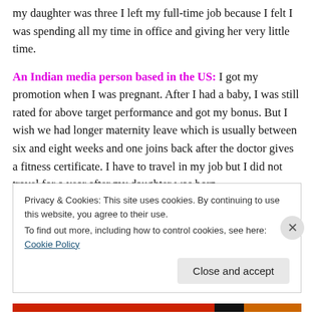my daughter was three I left my full-time job because I felt I was spending all my time in office and giving her very little time.
An Indian media person based in the US: I got my promotion when I was pregnant. After I had a baby, I was still rated for above target performance and got my bonus. But I wish we had longer maternity leave which is usually between six and eight weeks and one joins back after the doctor gives a fitness certificate. I have to travel in my job but I did not travel for a year after my daughter was born.
Privacy & Cookies: This site uses cookies. By continuing to use this website, you agree to their use. To find out more, including how to control cookies, see here: Cookie Policy